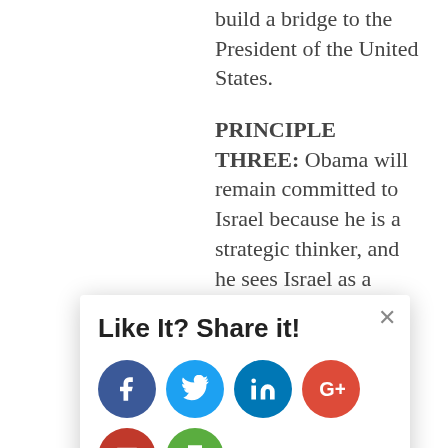build a bridge to the President of the United States.
PRINCIPLE THREE: Obama will remain committed to Israel because he is a strategic thinker, and he sees Israel as a strategic asset of America. The President, to be sure, views foreign policy with a moral lens—though he rejects the heavy-handed ... his starting point is careful calculation of American interests, and a strong Israel—as he well
[Figure (infographic): Share modal overlay with title 'Like It? Share it!' and social media icon buttons: Facebook (blue), Twitter (light blue), LinkedIn (blue), Google+ (red), Email (dark red), Print (green). A close button (×) is in the top right corner.]